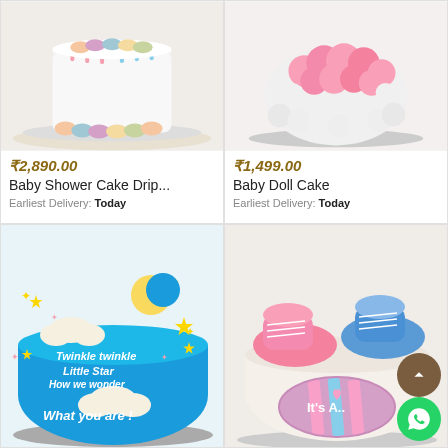[Figure (photo): Baby Shower Cake Drip with macarons on white drip cake]
₹2,890.00
Baby Shower Cake Drip...
Earliest Delivery: Today
[Figure (photo): Baby Doll Cake with pink rosette frosting]
₹1,499.00
Baby Doll Cake
Earliest Delivery: Today
[Figure (photo): Twinkle Twinkle Little Star baby shower cake - blue round cake with stars, moon, clouds and text]
[Figure (photo): Gender reveal cake with pink and blue baby shoes on top and 'It's A...' fondant plaque]